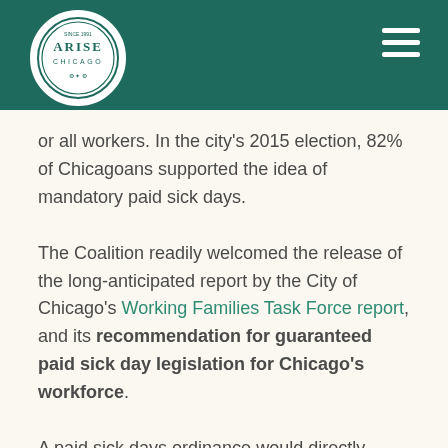[Figure (logo): Arise Chicago circular logo with text ARISE CHICAGO and decorative border, white on dark teal header bar]
for all workers. In the city's 2015 election, 82% of Chicagoans supported the idea of mandatory paid sick days.
The Coalition readily welcomed the release of the long-anticipated report by the City of Chicago's Working Families Task Force report, and its recommendation for guaranteed paid sick day legislation for Chicago's workforce.
A paid sick days ordinance would directly impact nearly half of all private sector workers in Chicago who currently lack access to such a benefit. An ordinance would mean that workers no longer need